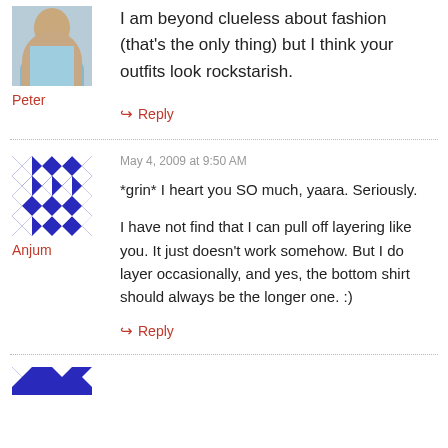[Figure (photo): Small avatar photo of Peter, a person in a blue/teal shirt, cropped head and shoulders]
Peter
I am beyond clueless about fashion (that’s the only thing) but I think your outfits look rockstarish.
↔ Reply
May 4, 2009 at 9:50 AM
[Figure (illustration): Blue and white geometric quilt pattern avatar for Anjum]
Anjum
*grin* I heart you SO much, yaara. Seriously.
I have not find that I can pull off layering like you. It just doesn’t work somehow. But I do layer occasionally, and yes, the bottom shirt should always be the longer one. :)
↔ Reply